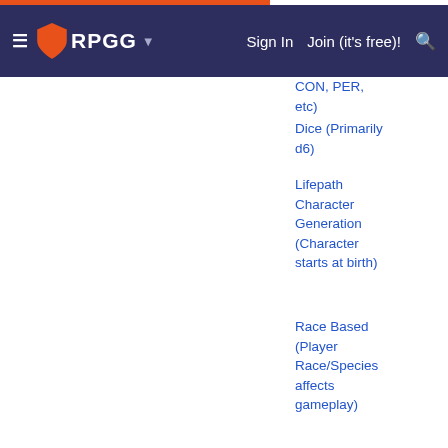≡  RPGG  ▾    Sign In   Join (it's free)!  🔍
CON, PER, etc)
Dice (Primarily d6)
Lifepath Character Generation (Character starts at birth)
Race Based (Player Race/Species affects gameplay)
Show More »
|  |  |
| --- | --- |
| Designer | Dave Emigh
John Harshman
Erik Wilson |
| Artist | Rosemarie K. Geier |
| Production Staff | Chris Purcell |
| Publisher | Fanpro Game Designers! |